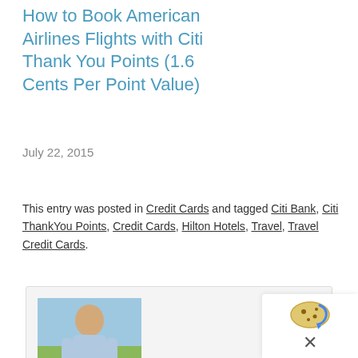How to Book American Airlines Flights with Citi Thank You Points (1.6 Cents Per Point Value)
July 22, 2015
This entry was posted in Credit Cards and tagged Citi Bank, Citi ThankYou Points, Credit Cards, Hilton Hotels, Travel, Travel Credit Cards.
[Figure (photo): Author photo of Grant]
About Grant
Grant is an expert in frequent flyer miles, hotel loyalty points, credit card rewards, and cash back deals. He also has a pretty cool travel blog. Find him on Twitter @travelwithgrant.
View all posts by Grant →